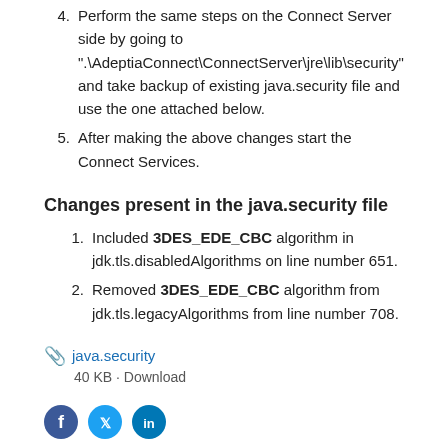4. Perform the same steps on the Connect Server side by going to ".\AdeptiaConnect\ConnectServer\jre\lib\security" and take backup of existing java.security file and use the one attached below.
5. After making the above changes start the Connect Services.
Changes present in the java.security file
1. Included 3DES_EDE_CBC algorithm in jdk.tls.disabledAlgorithms on line number 651.
2. Removed 3DES_EDE_CBC algorithm from jdk.tls.legacyAlgorithms from line number 708.
java.security
40 KB · Download